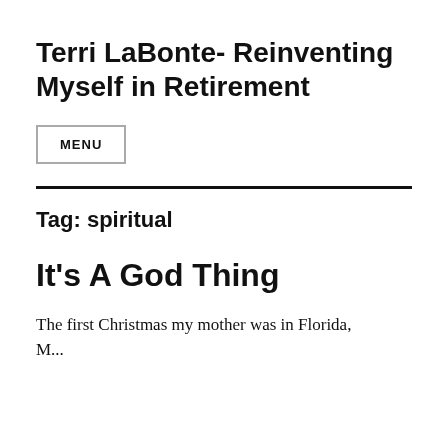Terri LaBonte- Reinventing Myself in Retirement
MENU
Tag: spiritual
It’s A God Thing
The first Christmas my mother was in Florida, M...